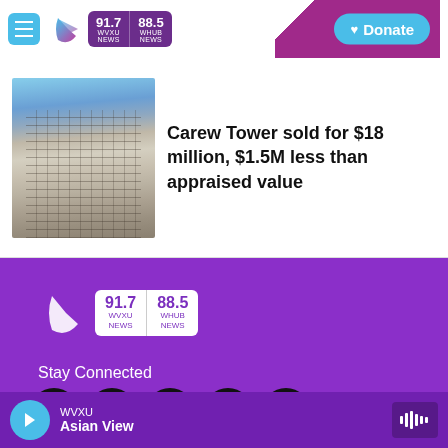WVXU 91.7 NEWS | WHUB 88.5 NEWS | Donate
Carew Tower sold for $18 million, $1.5M less than appraised value
[Figure (photo): Photo of Carew Tower building exterior looking upward]
Stay Connected
[Figure (logo): WVXU 91.7 NEWS / WHUB 88.5 NEWS logo with play arrow]
© 2022 Cincinnati Public Radio
WVXU  Asian View